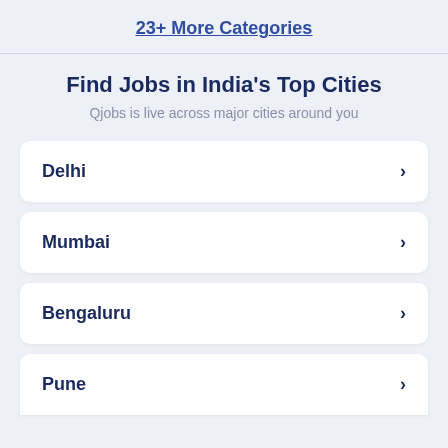23+ More Categories
Find Jobs in India's Top Cities
Qjobs is live across major cities around you
Delhi
Mumbai
Bengaluru
Pune